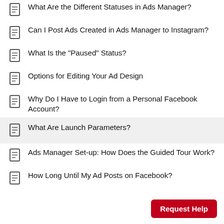What Are the Different Statuses in Ads Manager?
Can I Post Ads Created in Ads Manager to Instagram?
What Is the "Paused" Status?
Options for Editing Your Ad Design
Why Do I Have to Login from a Personal Facebook Account?
What Are Launch Parameters?
Ads Manager Set-up: How Does the Guided Tour Work?
How Long Until My Ad Posts on Facebook?
Request Help